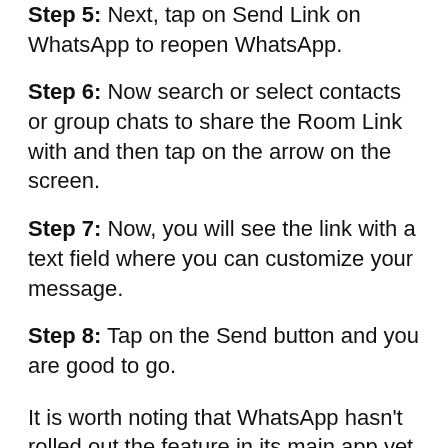Step 5: Next, tap on Send Link on WhatsApp to reopen WhatsApp.
Step 6: Now search or select contacts or group chats to share the Room Link with and then tap on the arrow on the screen.
Step 7: Now, you will see the link with a text field where you can customize your message.
Step 8: Tap on the Send button and you are good to go.
It is worth noting that WhatsApp hasn't rolled out the feature in its main app yet. The feature is in works and it is expected to be rolled out to